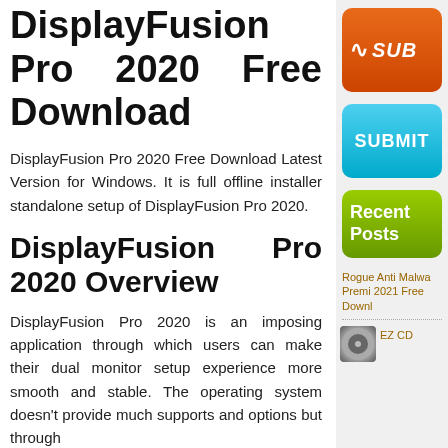DisplayFusion Pro 2020 Free Download
DisplayFusion Pro 2020 Free Download Latest Version for Windows. It is full offline installer standalone setup of DisplayFusion Pro 2020.
DisplayFusion Pro 2020 Overview
DisplayFusion Pro 2020 is an imposing application through which users can make their dual monitor setup experience more smooth and stable. The operating system doesn't provide much supports and options but through
[Figure (screenshot): Orange RSS subscribe button with RSS icon and SUB text]
[Figure (screenshot): Light blue SUBMIT button]
[Figure (screenshot): Green Recent Posts label/button]
Rogue Anti Malwa Premi 2021 Free Downl
[Figure (screenshot): Thumbnail image of EZ CD]
EZ CD